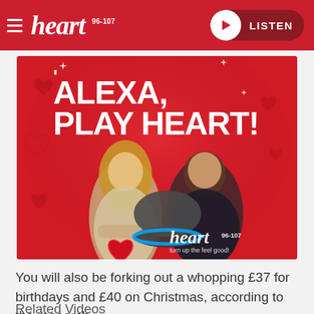heart 96-107 | LISTEN
[Figure (photo): Heart Radio advertisement showing two presenters (a woman with long blonde hair and a man in a dark t-shirt) standing behind an Amazon Echo device on a red background with heart shapes. Text reads 'ALEXA, PLAY HEART!' in large white bold letters. Heart 96-107 logo and 'turn up the feel good!' tagline visible at bottom right.]
You will also be forking out a whopping £37 for birthdays and £40 on Christmas, according to the research.
Related Videos